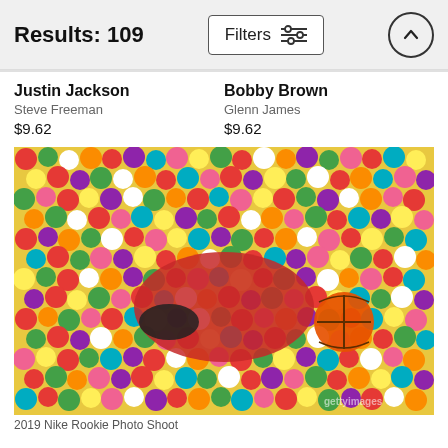Results: 109
Justin Jackson
Steve Freeman
$9.62
Bobby Brown
Glenn James
$9.62
[Figure (photo): NBA player in New Orleans Pelicans jersey lying in a colorful ball pit holding a basketball, wide angle shot]
2019 Nike Rookie Photo Shoot